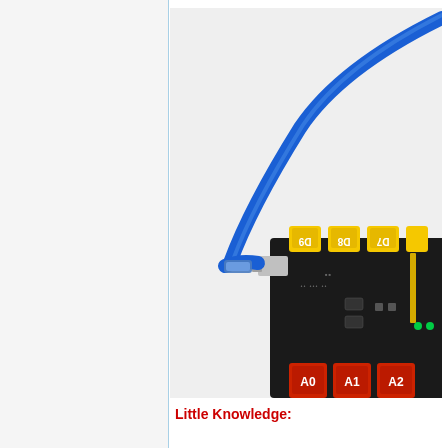[Figure (photo): Photo of an Arduino-style microcontroller board with a blue USB cable plugged into it. The board has yellow connectors labeled D7, D8, D9 and red connectors labeled A0, A1, A2. The blue USB cable curves upward toward the top right of the image. Background is white/light gray.]
Little Knowledge: